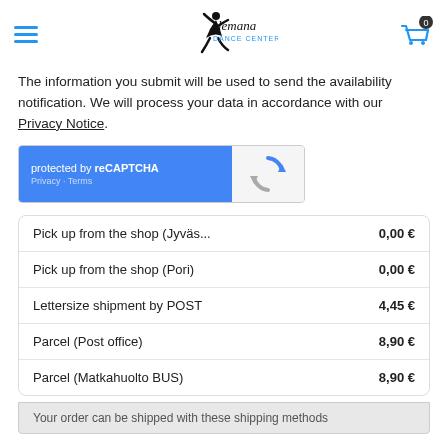Alemana Dance Center — navigation header with hamburger menu and cart
The information you submit will be used to send the availability notification. We will process your data in accordance with our Privacy Notice.
[Figure (other): reCAPTCHA widget showing 'protected by reCAPTCHA' with Privacy - Terms links on blue background and reCAPTCHA logo on grey background]
| Shipping Method | Price |
| --- | --- |
| Pick up from the shop (Jyväs... | 0,00 € |
| Pick up from the shop (Pori) | 0,00 € |
| Lettersize shipment by POST | 4,45 € |
| Parcel (Post office) | 8,90 € |
| Parcel (Matkahuolto BUS) | 8,90 € |
Your order can be shipped with these shipping methods